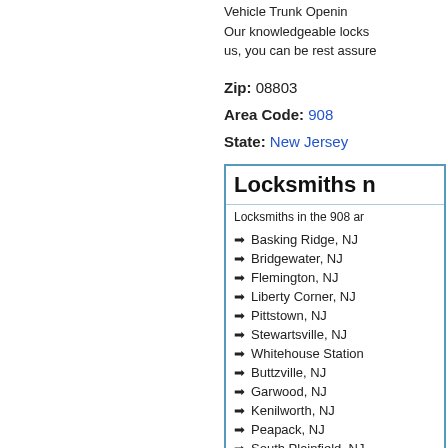Vehicle Trunk Opening
Our knowledgeable locks... us, you can be rest assure...
Zip: 08803
Area Code: 908
State: New Jersey
Locksmiths n...
Locksmiths in the 908 ar...
Basking Ridge, NJ
Bridgewater, NJ
Flemington, NJ
Liberty Corner, NJ
Pittstown, NJ
Stewartsville, NJ
Whitehouse Station...
Buttzville, NJ
Garwood, NJ
Kenilworth, NJ
Peapack, NJ
South Plainfield, NJ